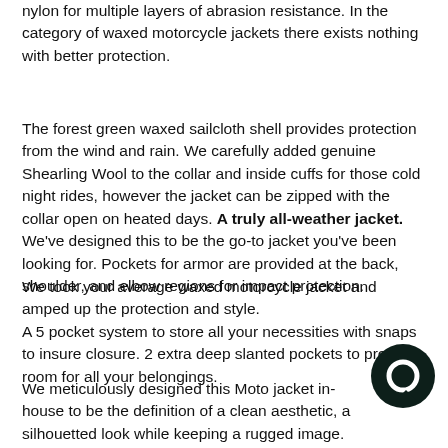nylon for multiple layers of abrasion resistance. In the category of waxed motorcycle jackets there exists nothing with better protection.
The forest green waxed sailcloth shell provides protection from the wind and rain. We carefully added genuine Shearling Wool to the collar and inside cuffs for those cold night rides, however the jacket can be zipped with the collar open on heated days. A truly all-weather jacket. We've designed this to be the go-to jacket you've been looking for. Pockets for armor are provided at the back, shoulder, and elbow regions for impact protection.
We took your average waxed motorcycle jacket and amped up the protection and style.
A 5 pocket system to store all your necessities with snaps to insure closure. 2 extra deep slanted pockets to provide room for all your belongings.
We meticulously designed this Moto jacket in-house to be the definition of a clean aesthetic, a silhouetted look while keeping a rugged image. As it's worn-in, the jacket will continue to improve